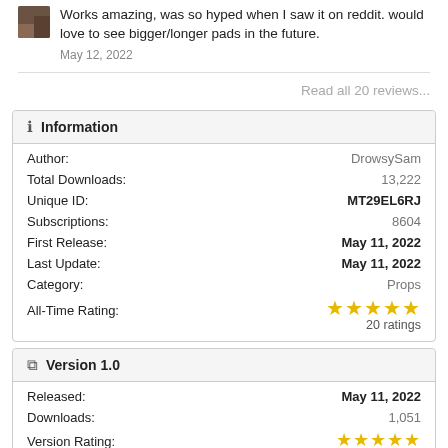Works amazing, was so hyped when I saw it on reddit. would love to see bigger/longer pads in the future.
May 12, 2022
Read all 20 reviews...
Information
| Field | Value |
| --- | --- |
| Author: | DrowsySam |
| Total Downloads: | 13,222 |
| Unique ID: | MT29EL6RJ |
| Subscriptions: | 8604 |
| First Release: | May 11, 2022 |
| Last Update: | May 11, 2022 |
| Category: | Props |
| All-Time Rating: | ★★★★★ 20 ratings |
Version 1.0
| Field | Value |
| --- | --- |
| Released: | May 11, 2022 |
| Downloads: | 1,051 |
| Version Rating: | ★★★★★ 20 ratings |